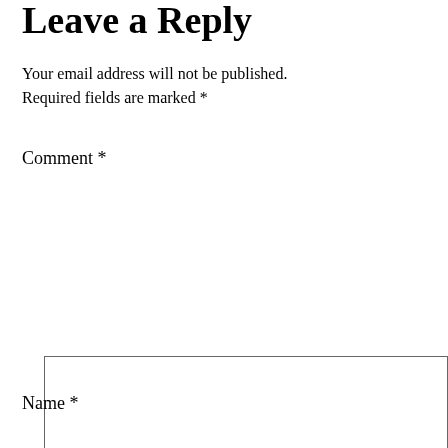Leave a Reply
Your email address will not be published. Required fields are marked *
Comment *
[Figure (other): Large empty comment text area input box with resize handle at bottom right]
Name *
[Figure (other): Single-line text input box for name field]